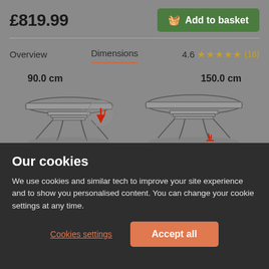£819.99
Add to basket
Overview   Dimensions   4.6 ★★★★★ (16)
90.0 cm
150.0 cm
[Figure (illustration): Two dining table illustrations side by side showing table edge thickness and leg width dimensions with measurement arrows]
Table edge thickness:
Leg width:
Our cookies
We use cookies and similar tech to improve your site experience and to show you personalised content. You can change your cookie settings at any time.
Cookies settings
Accept all